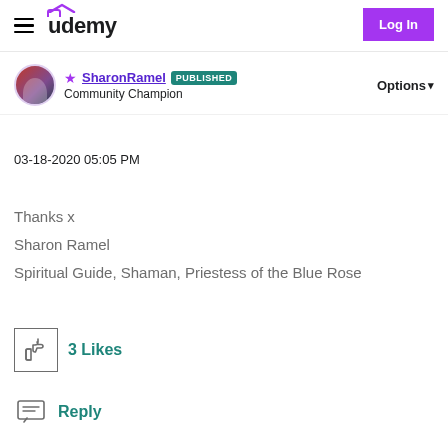[Figure (screenshot): Udemy website navigation bar with hamburger menu, Udemy logo, and Log In button]
SharonRamel PUBLISHED
Community Champion
Options
03-18-2020 05:05 PM
Thanks x
Sharon Ramel
Spiritual Guide, Shaman, Priestess of the Blue Rose
3 Likes
Reply